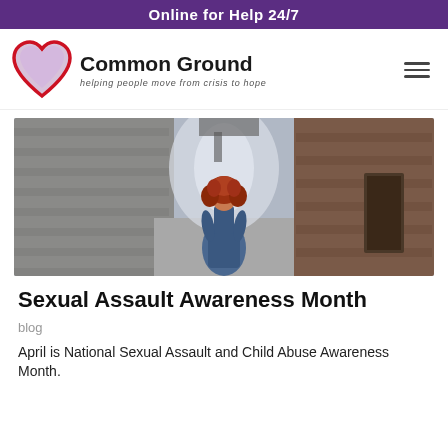Online for Help 24/7
[Figure (logo): Common Ground logo — red heart outline with lavender fill, beside bold text 'Common Ground' and italic tagline 'helping people move from crisis to hope']
[Figure (photo): A woman with red curly hair wearing a blue dress, photographed from behind, standing in a narrow alley between brick walls]
Sexual Assault Awareness Month
blog
April is National Sexual Assault and Child Abuse Awareness Month.